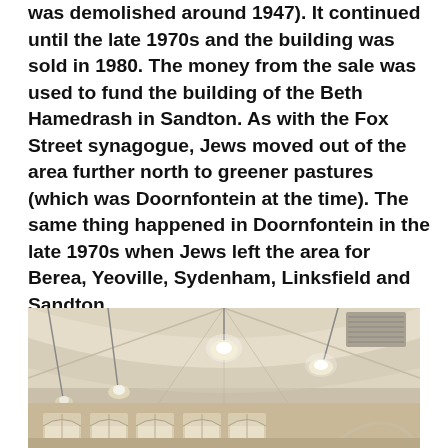was demolished around 1947). It continued until the late 1970s and the building was sold in 1980. The money from the sale was used to fund the building of the Beth Hamedrash in Sandton. As with the Fox Street synagogue, Jews moved out of the area further north to greener pastures (which was Doornfontein at the time). The same thing happened in Doornfontein in the late 1970s when Jews left the area for Berea, Yeoville, Sydenham, Linksfield and Sandton.
[Figure (photo): Interior photograph of a synagogue showing arched ceilings with hanging pendant lights, arched windows, and ornate white plasterwork on the ceiling and walls.]